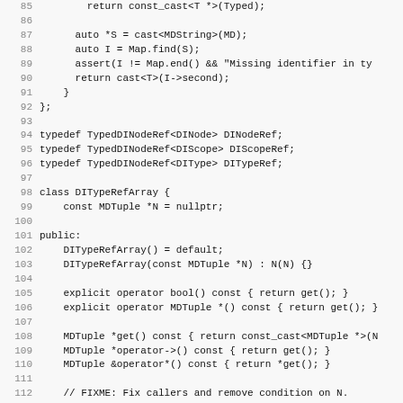[Figure (screenshot): Source code listing in C++ showing lines 85-117, featuring class definitions for TypedDINodeRef, DITypeRefArray, and iterator. Lines include return statements, typedef declarations, class members, constructors, operators, and comments.]